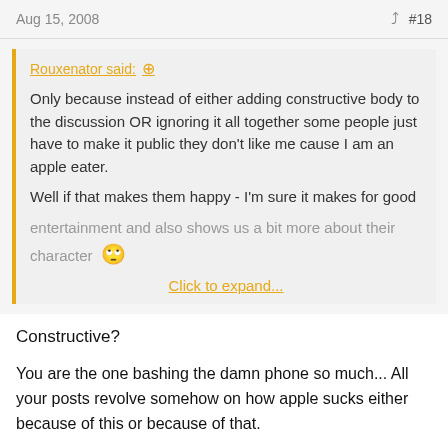Aug 15, 2008   #18
Rouxenator said: ↑

Only because instead of either adding constructive body to the discussion OR ignoring it all together some people just have to make it public they don't like me cause I am an apple eater.

Well if that makes them happy - I'm sure it makes for good entertainment and also shows us a bit more about their character 🙄

Click to expand...
Constructive?
You are the one bashing the damn phone so much... All your posts revolve somehow on how apple sucks either because of this or because of that.
Please don't play the character card. You sir show your character by trying to change ppl's opinion. That is called Narcissistic - the whole world doesn't revolve around what you...